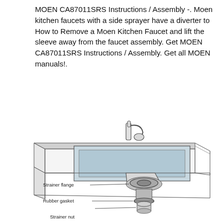MOEN CA87011SRS Instructions / Assembly -. Moen kitchen faucets with a side sprayer have a diverter to How to Remove a Moen Kitchen Faucet and lift the sleeve away from the faucet assembly. Get MOEN CA87011SRS Instructions / Assembly. Get all MOEN manuals!.
[Figure (engineering-diagram): Line drawing of a kitchen sink installation showing a faucet on the countertop and underneath view with labeled parts: Strainer flange, Rubber gasket, and Strainer nut pointing to the sink drain assembly.]